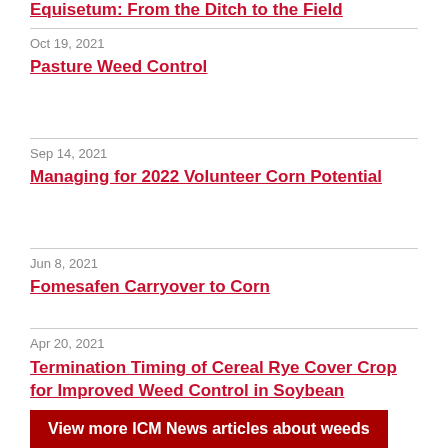Equisetum: From the Ditch to the Field
Oct 19, 2021
Pasture Weed Control
Sep 14, 2021
Managing for 2022 Volunteer Corn Potential
Jun 8, 2021
Fomesafen Carryover to Corn
Apr 20, 2021
Termination Timing of Cereal Rye Cover Crop for Improved Weed Control in Soybean
View more ICM News articles about weeds